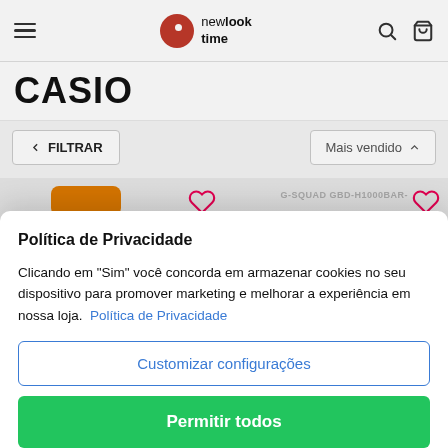newlook time
CASIO
FILTRAR
Mais vendido
[Figure (screenshot): Product listing page for Casio watches on newlooktime website, showing a watch product card with G-SQUAD GBD-H1000BAR label, heart/wishlist icons, price 'Ou 12x de R$ 499,92', 'Ou', 'R$ 5.699,05', '3% de desconto no PIX']
Política de Privacidade
Clicando em "Sim" você concorda em armazenar cookies no seu dispositivo para promover marketing e melhorar a experiência em nossa loja.  Política de Privacidade
Customizar configurações
Permitir todos